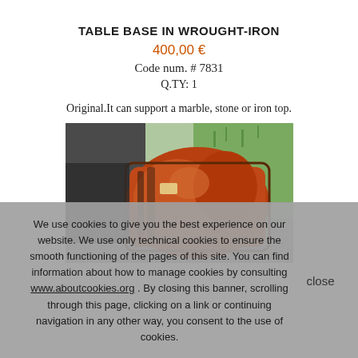TABLE BASE IN WROUGHT-IRON
400,00 €
Code num. # 7831
Q.TY: 1
Original.It can support a marble, stone or iron top.
[Figure (photo): Photograph of a wrought-iron table base with rust-orange coloring, photographed outdoors near grass and stone pavers.]
We use cookies to give you the best experience on our website. We use only technical cookies to ensure the smooth functioning of the pages of this site. You can find information about how to manage cookies by consulting www.aboutcookies.org . By closing this banner, scrolling through this page, clicking on a link or continuing navigation in any other way, you consent to the use of cookies.